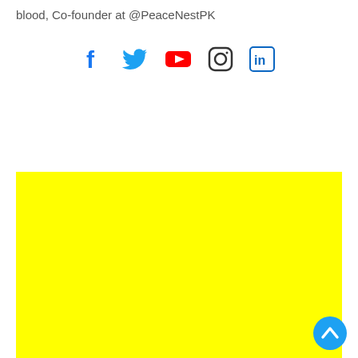blood, Co-founder at @PeaceNestPK
[Figure (infographic): Social media icons: Facebook (f), Twitter (bird), YouTube (play button), Instagram (camera outline), LinkedIn (in)]
[Figure (other): Large solid yellow rectangle placeholder/advertisement block]
[Figure (other): Blue circular back-to-top button with upward chevron arrow in bottom-right corner]